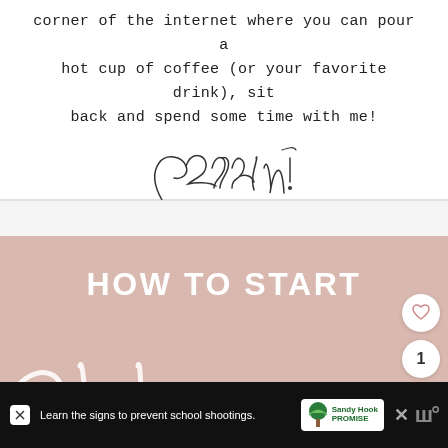corner of the internet where you can pour a hot cup of coffee (or your favorite drink), sit back and spend some time with me!
[Figure (illustration): Handwritten cursive script reading 'Cheers!']
[Figure (illustration): Pink/mauve colored promotional image with white serif text 'HOW TO START' at top and large white cursive script below, partially visible. Contains social media interaction buttons (heart, count '1', share) on right side.]
[Figure (illustration): Advertisement bar at bottom: black background with text 'Learn the signs to prevent school shootings.' and Sandy Hook Promise logo with tree graphic, plus close buttons and share icon.]